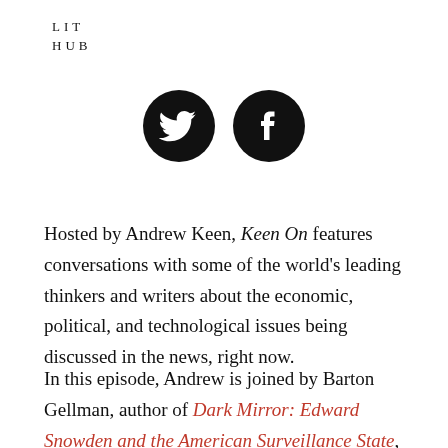LIT HUB
[Figure (illustration): Two black circular social media icons: Twitter bird icon and Facebook 'f' icon]
Hosted by Andrew Keen, Keen On features conversations with some of the world's leading thinkers and writers about the economic, political, and technological issues being discussed in the news, right now.
In this episode, Andrew is joined by Barton Gellman, author of Dark Mirror: Edward Snowden and the American Surveillance State, to discuss the top secret establishment of the